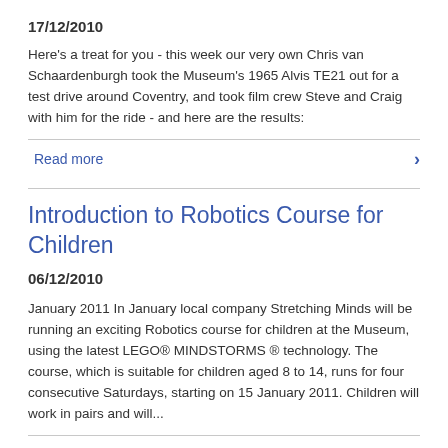17/12/2010
Here's a treat for you - this week our very own Chris van Schaardenburgh took the Museum's 1965 Alvis TE21 out for a test drive around Coventry, and took film crew Steve and Craig with him for the ride - and here are the results:
Read more
Introduction to Robotics Course for Children
06/12/2010
January 2011 In January local company Stretching Minds will be running an exciting Robotics course for children at the Museum, using the latest LEGO® MINDSTORMS ® technology. The course, which is suitable for children aged 8 to 14, runs for four consecutive Saturdays, starting on 15 January 2011. Children will work in pairs and will...